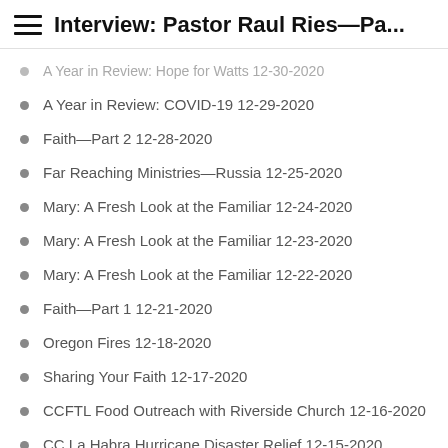Interview: Pastor Raul Ries—Pa...
A Year in Review: Hope for Watts 12-30-2020
A Year in Review: COVID-19 12-29-2020
Faith—Part 2 12-28-2020
Far Reaching Ministries—Russia 12-25-2020
Mary: A Fresh Look at the Familiar 12-24-2020
Mary: A Fresh Look at the Familiar 12-23-2020
Mary: A Fresh Look at the Familiar 12-22-2020
Faith—Part 1 12-21-2020
Oregon Fires 12-18-2020
Sharing Your Faith 12-17-2020
CCFTL Food Outreach with Riverside Church 12-16-2020
CC La Habra Hurricane Disaster Relief 12-15-2020
CCA Pastors' Wives Conference 2021 12-15-2020
The Man God Uses—part 10 12-14-2020